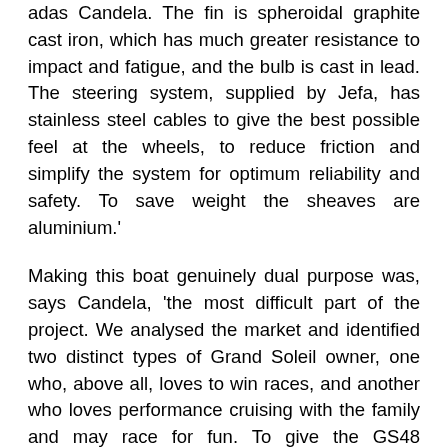adas Candela. The fin is spheroidal graphite cast iron, which has much greater resistance to impact and fatigue, and the bulb is cast in lead. The steering system, supplied by Jefa, has stainless steel cables to give the best possible feel at the wheels, to reduce friction and simplify the system for optimum reliability and safety. To save weight the sheaves are aluminium.'
Making this boat genuinely dual purpose was, says Candela, 'the most difficult part of the project. We analysed the market and identified two distinct types of Grand Soleil owner, one who, above all, loves to win races, and another who loves performance cruising with the family and may race for fun. To give the GS48 maximum appeal for both types of owner, we designed two cockpit layouts: Race and Performance.
'Our professional racing consultants worked with Harken to optimise cockpit ergonomics using modelling software,' he says. 'Empha...'